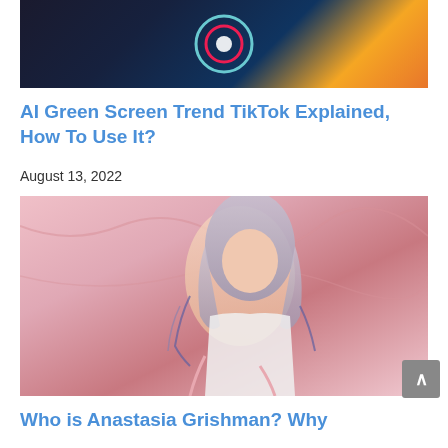[Figure (photo): A smartphone displaying the TikTok app logo on a blue screen, resting on a wooden surface with warm orange tones]
AI Green Screen Trend TikTok Explained, How To Use It?
August 13, 2022
[Figure (photo): A heavily tattooed woman with long silver/gray hair sitting on a pink surface, wearing a white top, against a pink draped background]
Who is Anastasia Grishman? Why